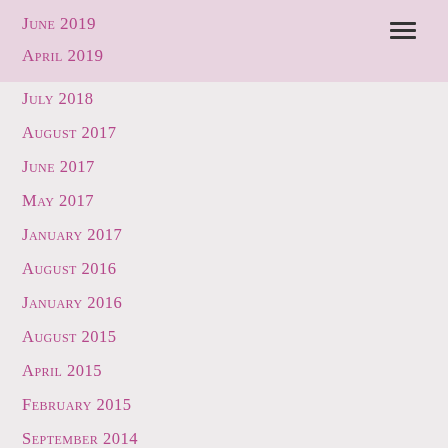June 2019
April 2019
July 2018
August 2017
June 2017
May 2017
January 2017
August 2016
January 2016
August 2015
April 2015
February 2015
September 2014
July 2013